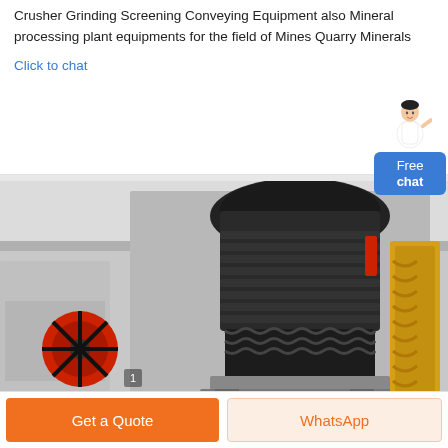Crusher Grinding Screening Conveying Equipment also Mineral processing plant equipments for the field of Mines Quarry Minerals
Click to chat
[Figure (photo): Industrial cone crusher machine in a factory/warehouse setting, with a large black cone crusher in the center, red flywheel on the left side, and yellow spring components on the right. Machinery is mounted on a metal frame.]
Get a Quote
WhatsApp